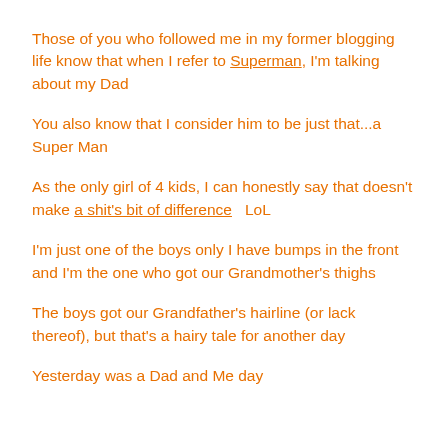Those of you who followed me in my former blogging life know that when I refer to Superman, I'm talking about my Dad
You also know that I consider him to be just that...a Super Man
As the only girl of 4 kids, I can honestly say that doesn't make a shit's bit of difference   LoL
I'm just one of the boys only I have bumps in the front and I'm the one who got our Grandmother's thighs
The boys got our Grandfather's hairline (or lack thereof), but that's a hairy tale for another day
Yesterday was a Dad and Me day